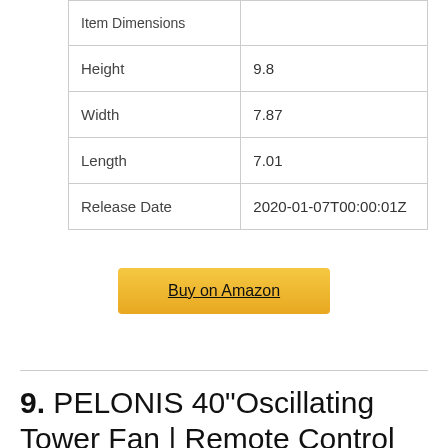| Item Dimensions |  |
| --- | --- |
| Height | 9.8 |
| Width | 7.87 |
| Length | 7.01 |
| Release Date | 2020-01-07T00:00:01Z |
Buy on Amazon
9. PELONIS 40"Oscillating Tower Fan | Remote Control |Quiet Stand Up